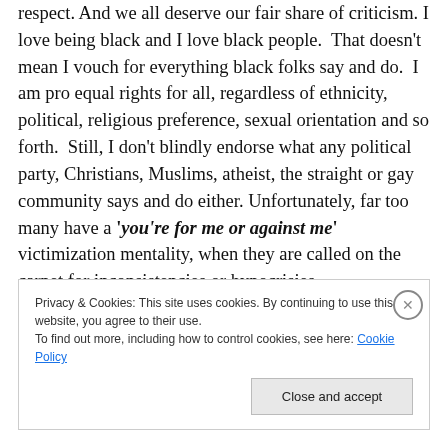respect. And we all deserve our fair share of criticism. I love being black and I love black people. That doesn't mean I vouch for everything black folks say and do. I am pro equal rights for all, regardless of ethnicity, political, religious preference, sexual orientation and so forth. Still, I don't blindly endorse what any political party, Christians, Muslims, atheist, the straight or gay community says and do either. Unfortunately, far too many have a 'you're for me or against me' victimization mentality, when they are called on the carpet for inconsistencies or hypocrisies.
Privacy & Cookies: This site uses cookies. By continuing to use this website, you agree to their use.
To find out more, including how to control cookies, see here: Cookie Policy